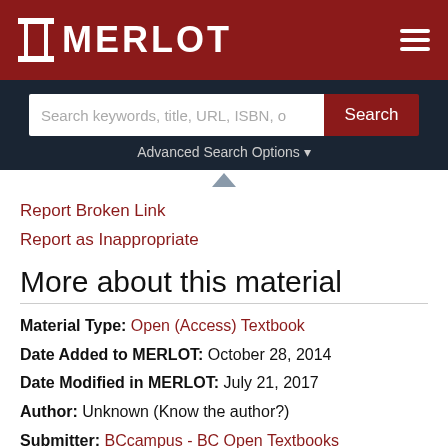MERLOT
Search keywords, title, URL, ISBN, o
Advanced Search Options
Report Broken Link
Report as Inappropriate
More about this material
Material Type: Open (Access) Textbook
Date Added to MERLOT: October 28, 2014
Date Modified in MERLOT: July 21, 2017
Author: Unknown (Know the author?)
Submitter: BCcampus - BC Open Textbooks
Primary Audience: College General Ed, College Lower Division
Technical Format: Website